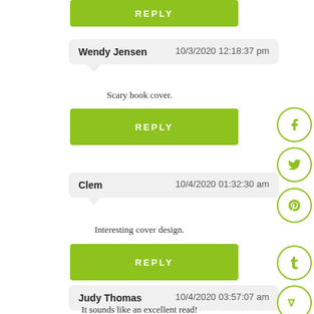[Figure (screenshot): Partial green REPLY button at top of page]
Wendy Jensen   10/3/2020 12:18:37 pm
Scary book cover.
[Figure (screenshot): Green REPLY button]
[Figure (screenshot): Facebook social share icon circle]
[Figure (screenshot): Twitter social share icon circle]
Clem   10/4/2020 01:32:30 am
[Figure (screenshot): Pinterest social share icon circle]
Interesting cover design.
[Figure (screenshot): Green REPLY button]
[Figure (screenshot): Tumblr social share icon circle]
Judy Thomas   10/4/2020 03:57:07 am
[Figure (screenshot): StumbleUpon social share icon circle]
It sounds like an excellent read!